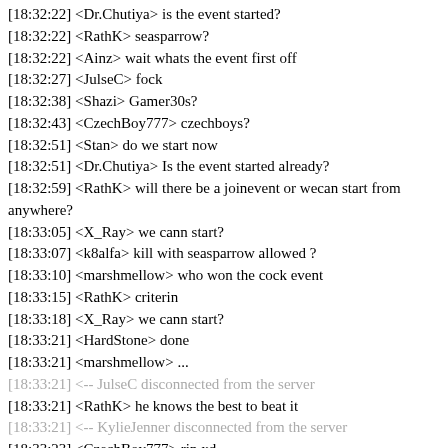[18:32:22] <Dr.Chutiya> is the event started?
[18:32:22] <RathK> seasparrow?
[18:32:22] <Ainz> wait whats the event first off
[18:32:27] <JulseC> fock
[18:32:38] <Shazi> Gamer30s?
[18:32:43] <CzechBoy777> czechboys?
[18:32:51] <Stan> do we start now
[18:32:51] <Dr.Chutiya> Is the event started already?
[18:32:59] <RathK> will there be a joinevent or wecan start from anywhere?
[18:33:05] <X_Ray> we cann start?
[18:33:07] <k8alfa> kill with seasparrow allowed ?
[18:33:10] <marshmellow> who won the cock event
[18:33:15] <RathK> criterin
[18:33:18] <X_Ray> we cann start?
[18:33:21] <HardStone> done
[18:33:21] <marshmellow> ...
[18:33:21] <-- JulseC disconnected from the server
[18:33:21] <RathK> he knows the best to beat it
[18:33:21] <-- KylieJenner disconnected from the server
[18:33:23] <CzechBoy777> rip xd
[18:33:31] <k8alfa> kill with seasparrow allowed ?
[18:33:31] <TheGamer> am i allowed to be standing here as spectator?
[18:33:31] <[President]Putin> how to sell a car?
[18:33:34] <HardStone> when do we start?